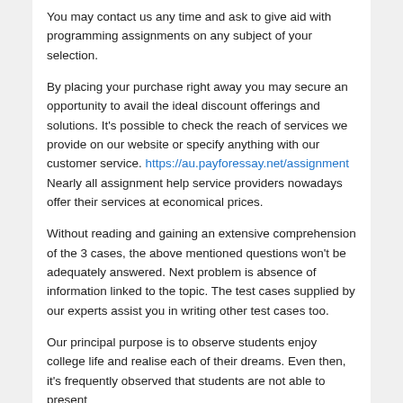You may contact us any time and ask to give aid with programming assignments on any subject of your selection.
By placing your purchase right away you may secure an opportunity to avail the ideal discount offerings and solutions. It's possible to check the reach of services we provide on our website or specify anything with our customer service. https://au.payforessay.net/assignment Nearly all assignment help service providers nowadays offer their services at economical prices.
Without reading and gaining an extensive comprehension of the 3 cases, the above mentioned questions won't be adequately answered. Next problem is absence of information linked to the topic. The test cases supplied by our experts assist you in writing other test cases too.
Our principal purpose is to observe students enjoy college life and realise each of their dreams. Even then, it's frequently observed that students are not able to present